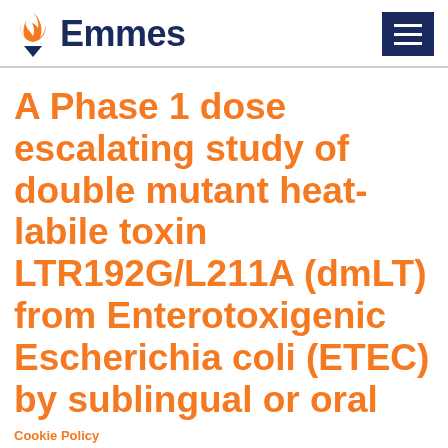Emmes
A Phase 1 dose escalating study of double mutant heat-labile toxin LTR192G/L211A (dmLT) from Enterotoxigenic Escherichia coli (ETEC) by sublingual or oral immunization.
Cookie Policy